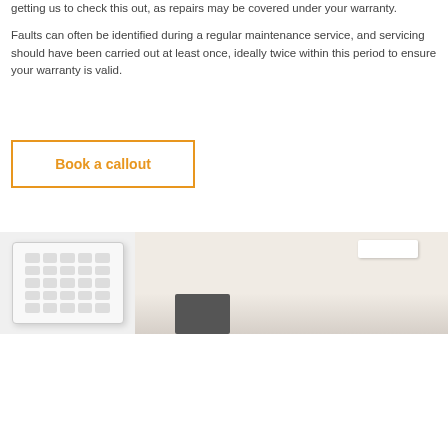getting us to check this out, as repairs may be covered under your warranty.
Faults can often be identified during a regular maintenance service, and servicing should have been carried out at least once, ideally twice within this period to ensure your warranty is valid.
Book a callout
[Figure (photo): Two images side by side: left shows a ceiling cassette air conditioning unit (white, square with louvred grilles); right shows an interior room scene with a wall-mounted unit and furniture.]